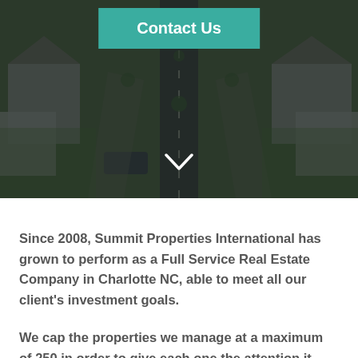[Figure (photo): Aerial view of a residential neighborhood with houses, driveways, parked cars, green lawns, and a central street. Dark semi-transparent overlay. A teal 'Contact Us' button is overlaid at the top center. A white chevron/down arrow is overlaid at the bottom center.]
Since 2008, Summit Properties International has grown to perform as a Full Service Real Estate Company in Charlotte NC, able to meet all our client's investment goals.
We cap the properties we manage at a maximum of 250 in order to give each one the attention it